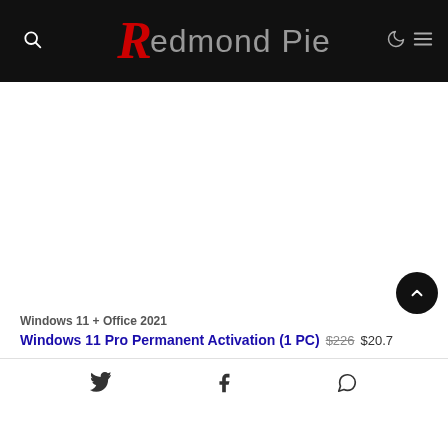Redmond Pie
[Figure (other): Advertisement/empty white content area]
Windows 11 + Office 2021
Windows 11 Pro Permanent Activation (1 PC) $226 $20.7
Twitter, Facebook, WhatsApp share icons